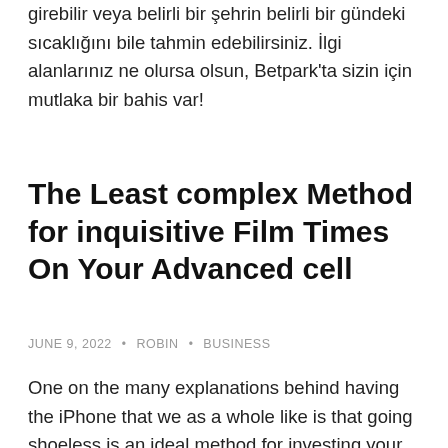girebilir veya belirli bir şehrin belirli bir gündeki sıcaklığını bile tahmin edebilirsiniz. İlgi alanlarınız ne olursa olsun, Betpark'ta sizin için mutlaka bir bahis var!
The Least complex Method for inquisitive Film Times On Your Advanced cell
JUNE 9, 2022 • ROBIN • BUSINESS
One on the many explanations behind having the iPhone that we as a whole like is that going shoeless is an ideal method for investing your free energy. There are a lot of various games and applications could keep you involved pretty much for eternity. There are